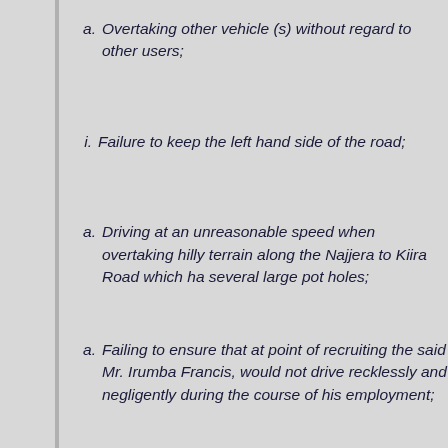a. Overtaking other vehicle (s) without regard to other users;
i. Failure to keep the left hand side of the road;
a. Driving at an unreasonable speed when overtaking hilly terrain along the Najjera to Kiira Road which had several large pot holes;
a. Failing to ensure that at point of recruiting the said Mr. Irumba Francis, would not drive recklessly and negligently during the course of his employment;